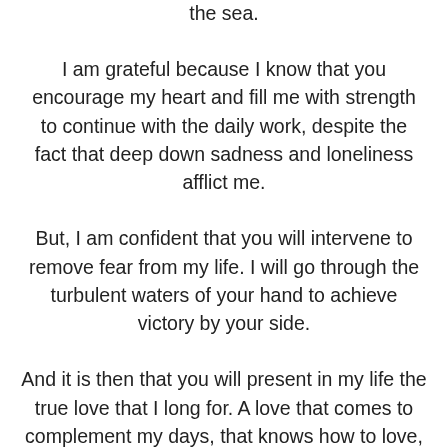the sea.
I am grateful because I know that you encourage my heart and fill me with strength to continue with the daily work, despite the fact that deep down sadness and loneliness afflict me.
But, I am confident that you will intervene to remove fear from my life. I will go through the turbulent waters of your hand to achieve victory by your side.
And it is then that you will present in my life the true love that I long for. A love that comes to complement my days, that knows how to love, care for and respect me (make request).